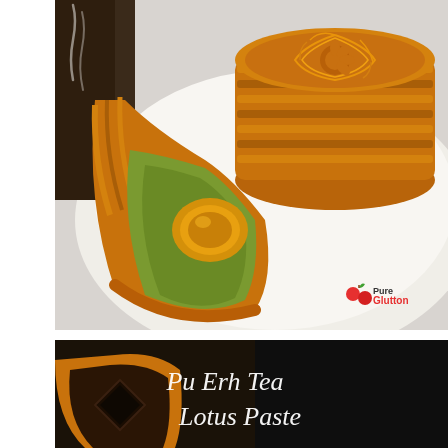[Figure (photo): Close-up photograph of a mooncake sliced open on a white plate, showing green lotus paste filling with salted egg yolk inside, with ornate golden-brown pastry crust. A 'Pure Glutton' watermark logo appears in the bottom right corner of the image.]
[Figure (photo): Partial photo on dark background showing a mooncake slice with text overlay reading 'Pu Erh Tea Lotus Paste' in elegant white cursive script.]